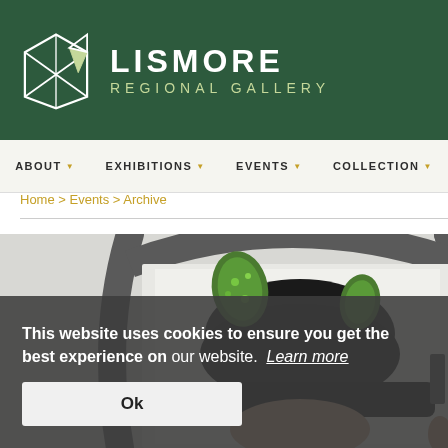[Figure (logo): Lismore Regional Gallery logo with geometric envelope/diamond icon in white lines on dark green background, with text LISMORE REGIONAL GALLERY]
ABOUT  EXHIBITIONS  EVENTS  COLLECTION
Home > Events > Archive
[Figure (photo): Person wearing a black furry hat with green sequined horns/ears, framed within an ornate dark arched mirror frame]
This website uses cookies to ensure you get the best experience on our website.  Learn more
Ok